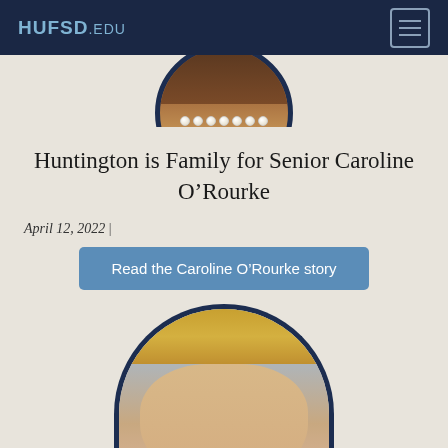HUFSD.EDU
[Figure (photo): Circular cropped photo of a student (partially visible at top), showing hair and pearl necklace against dark navy border]
Huntington is Family for Senior Caroline O’Rourke
April 12, 2022 |
Read the Caroline O’Rourke story
[Figure (photo): Circular (arch-top) cropped school portrait photo of a young woman with long blonde hair, wearing earrings, against a blue-grey background]